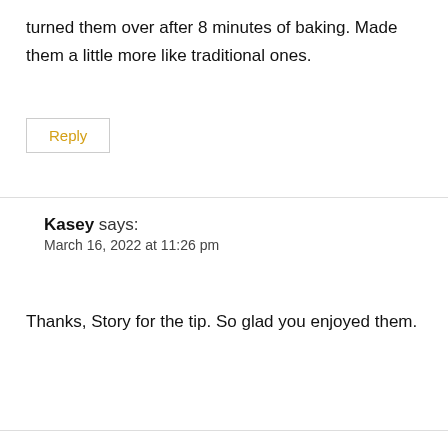turned them over after 8 minutes of baking. Made them a little more like traditional ones.
Reply
Kasey says:
March 16, 2022 at 11:26 pm
Thanks, Story for the tip. So glad you enjoyed them.